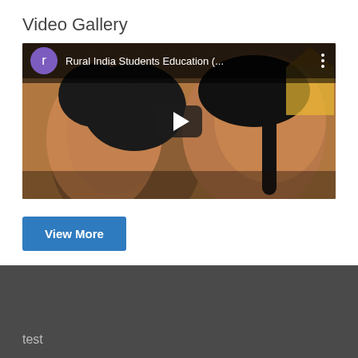Video Gallery
[Figure (screenshot): YouTube-style video thumbnail showing two Indian schoolgirls in profile, with a purple channel icon showing 'r', title 'Rural India Students Education (...)' and a play button overlay]
View More
test